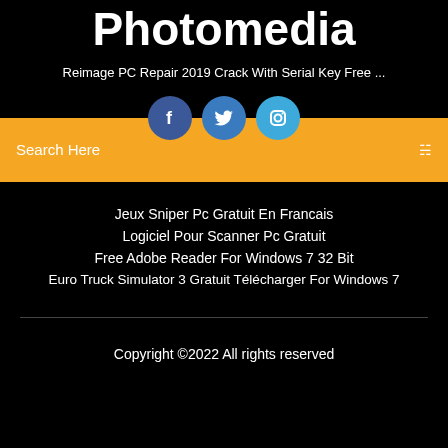Photomedia
Reimage PC Repair 2019 Crack With Serial Key Free ...
[Figure (illustration): Three social media icons: Facebook (dark blue circle), Twitter (medium blue circle), Instagram (light blue circle)]
Search Here
Jeux Sniper Pc Gratuit En Francais
Logiciel Pour Scanner Pc Gratuit
Free Adobe Reader For Windows 7 32 Bit
Euro Truck Simulator 3 Gratuit Télécharger For Windows 7
Copyright ©2022 All rights reserved